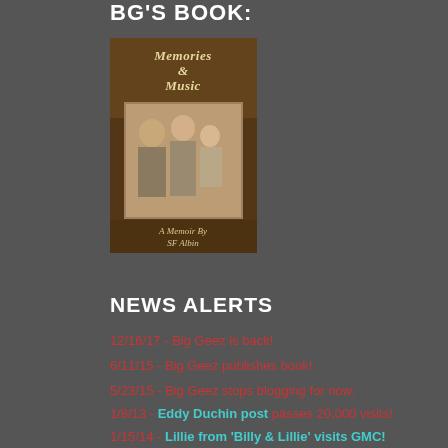BG'S BOOK:
[Figure (illustration): Book cover for 'Memories & Music: A Memoir By SF Albin' — dark brown background with title text at top and a vintage sepia family photograph in the center showing a man, woman, and baby.]
NEWS ALERTS
12/16/17 - Big Geez is back!
6/11/15 - Big Geez publishes book!
5/23/15 - Big Geez stops blogging for now.
1/8/13 - Eddy Duchin post passes 20,000 visits!
1/15/14 - Lillie from 'Billy & Lillie' visits GMC!